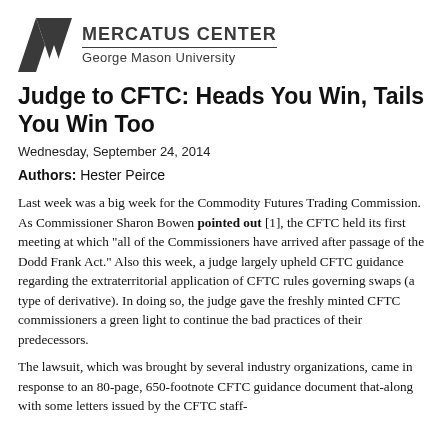[Figure (logo): Mercatus Center at George Mason University logo with M triangle icon]
Judge to CFTC: Heads You Win, Tails You Win Too
Wednesday, September 24, 2014
Authors: Hester Peirce
Last week was a big week for the Commodity Futures Trading Commission. As Commissioner Sharon Bowen pointed out [1], the CFTC held its first meeting at which "all of the Commissioners have arrived after passage of the Dodd Frank Act." Also this week, a judge largely upheld CFTC guidance regarding the extraterritorial application of CFTC rules governing swaps (a type of derivative). In doing so, the judge gave the freshly minted CFTC commissioners a green light to continue the bad practices of their predecessors.
The lawsuit, which was brought by several industry organizations, came in response to an 80-page, 650-footnote CFTC guidance document that-along with some letters issued by the CFTC staff-